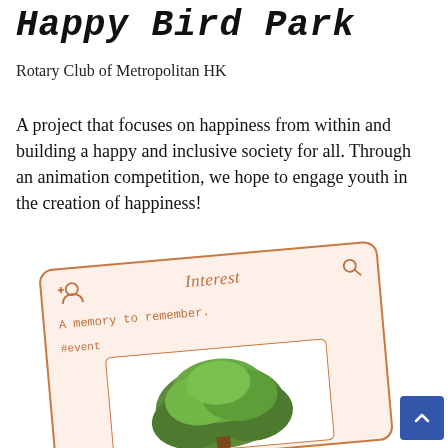Happy Bird Park
Rotary Club of Metropolitan HK
A project that focuses on happiness from within and building a happy and inclusive society for all. Through an animation competition, we hope to engage youth in the creation of happiness!
[Figure (illustration): A tilted card UI mockup with peach background and orange border, showing 'Interest' as header with add-person and search icons, text 'A memory to remember. #event', and an inner white card with a green tree illustration at the bottom.]